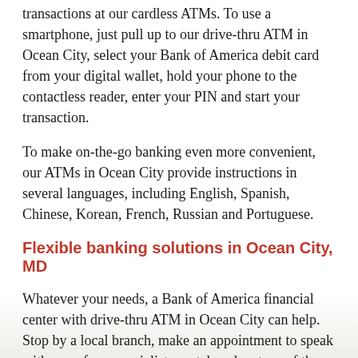You can also use a tap-to-pay card or a smartphone to make transactions at our cardless ATMs. To use a smartphone, just pull up to our drive-thru ATM in Ocean City, select your Bank of America debit card from your digital wallet, hold your phone to the contactless reader, enter your PIN and start your transaction.
To make on-the-go banking even more convenient, our ATMs in Ocean City provide instructions in several languages, including English, Spanish, Chinese, Korean, French, Russian and Portuguese.
Flexible banking solutions in Ocean City, MD
Whatever your needs, a Bank of America financial center with drive-thru ATM in Ocean City can help. Stop by a local branch, make an appointment to speak with one of our specialists, or take advantage of the many services our ATMs have to offer.